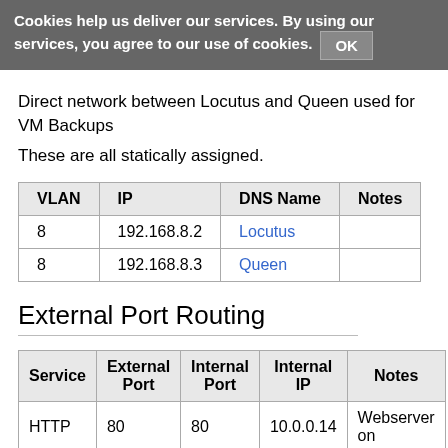Cookies help us deliver our services. By using our services, you agree to our use of cookies. OK
Direct network between Locutus and Queen used for VM Backups
These are all statically assigned.
| VLAN | IP | DNS Name | Notes |
| --- | --- | --- | --- |
| 8 | 192.168.8.2 | Locutus |  |
| 8 | 192.168.8.3 | Queen |  |
External Port Routing
| Service | External Port | Internal Port | Internal IP | Notes |
| --- | --- | --- | --- | --- |
| HTTP | 80 | 80 | 10.0.0.14 | Webserver on |